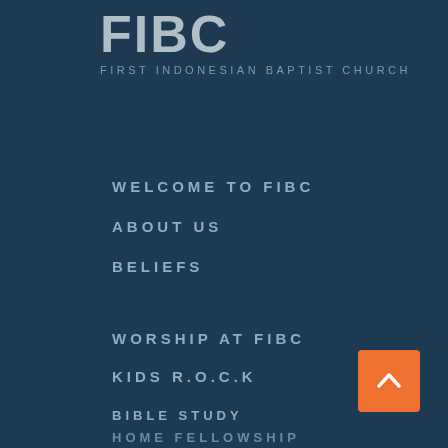FIBC
FIRST INDONESIAN BAPTIST CHURCH
WELCOME TO FIBC
ABOUT US
BELIEFS
WORSHIP AT FIBC
KIDS R.O.C.K
BIBLE STUDY
HOME FELLOWSHIP
SERMONS
THE SHEPHERD'S CORNER
VIDEOS & PHOTOS
[Figure (other): Orange back-to-top button with upward chevron arrow]